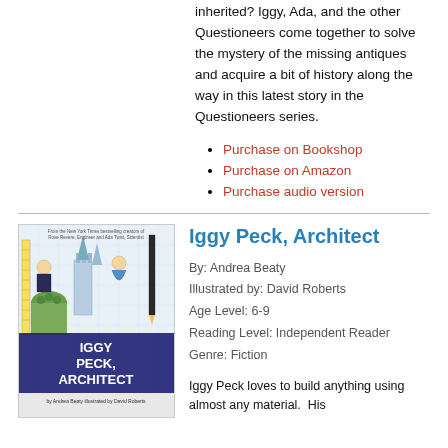inherited? Iggy, Ada, and the other Questioneers come together to solve the mystery of the missing antiques and acquire a bit of history along the way in this latest story in the Questioneers series.
Purchase on Bookshop
Purchase on Amazon
Purchase audio version
[Figure (illustration): Book cover for Iggy Peck, Architect by Andrea Beaty, illustrated by David Roberts. Shows illustrated characters building elaborate structures.]
Iggy Peck, Architect
By: Andrea Beaty
Illustrated by: David Roberts
Age Level: 6-9
Reading Level: Independent Reader
Genre: Fiction
Iggy Peck loves to build anything using almost any material.  His